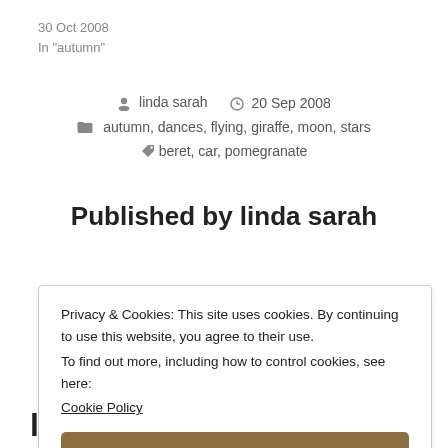30 Oct 2008
In "autumn"
linda sarah  20 Sep 2008
autumn, dances, flying, giraffe, moon, stars
beret, car, pomegranate
Published by linda sarah
Privacy & Cookies: This site uses cookies. By continuing to use this website, you agree to their use.
To find out more, including how to control cookies, see here:
Cookie Policy
Close and accept
leaf stories